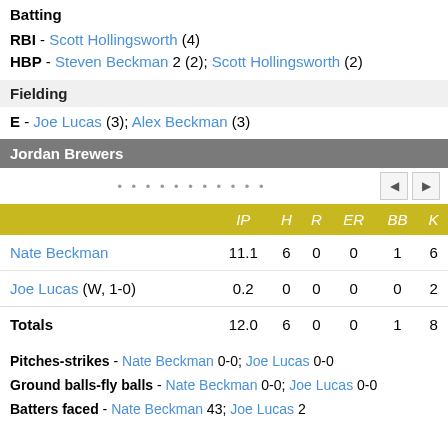Batting
RBI - Scott Hollingsworth (4)
HBP - Steven Beckman 2 (2); Scott Hollingsworth (2)
Fielding
E - Joe Lucas (3); Alex Beckman (3)
Jordan Brewers
|  | IP | H | R | ER | BB | K |
| --- | --- | --- | --- | --- | --- | --- |
| Nate Beckman | 11.1 | 6 | 0 | 0 | 1 | 6 |
| Joe Lucas (W, 1-0) | 0.2 | 0 | 0 | 0 | 0 | 2 |
| Totals | 12.0 | 6 | 0 | 0 | 1 | 8 |
Pitches-strikes - Nate Beckman 0-0; Joe Lucas 0-0
Ground balls-fly balls - Nate Beckman 0-0; Joe Lucas 0-0
Batters faced - Nate Beckman 43; Joe Lucas 2